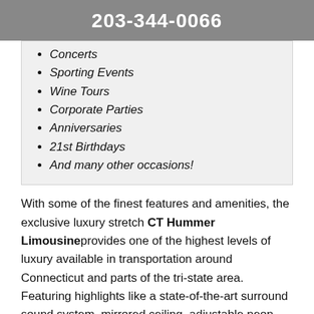203-344-0066
Concerts
Sporting Events
Wine Tours
Corporate Parties
Anniversaries
21st Birthdays
And many other occasions!
With some of the finest features and amenities, the exclusive luxury stretch CT Hummer Limousine provides one of the highest levels of luxury available in transportation around Connecticut and parts of the tri-state area. Featuring highlights like a state-of-the-art surround sound system, mirrored ceiling, adjustable neon lighting on the floor and ceiling, as well as hookups for an Ipod or Iphone so that you can be your own DJ! The